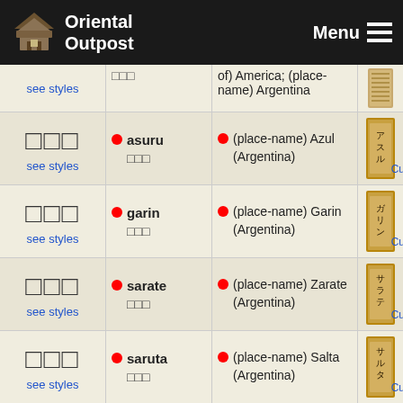Oriental Outpost | Menu
| Kanji | Romaji | Meaning | Scroll |
| --- | --- | --- | --- |
| □□□ / see styles | asuru □□□ | 🔴 (place-name) Azul (Argentina) | Cu |
| □□□ / see styles | garin □□□ | 🔴 (place-name) Garin (Argentina) | Cu |
| □□□ / see styles | sarate □□□ | 🔴 (place-name) Zarate (Argentina) | Cu |
| □□□ / see styles | saruta □□□ | 🔴 (place-name) Salta (Argentina) | Cu |